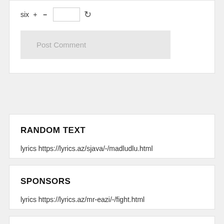[Figure (screenshot): Partial view of a comment form with a CAPTCHA row showing 'six + = [input]' and a refresh icon, plus a 'Post Comment' button below.]
RANDOM TEXT
lyrics https://lyrics.az/sjava/-/madludlu.html
SPONSORS
lyrics https://lyrics.az/mr-eazi/-/fight.html
TAGS
AK, AM, AP, china, Chris Brown, DJ, EP, EU, Europe,